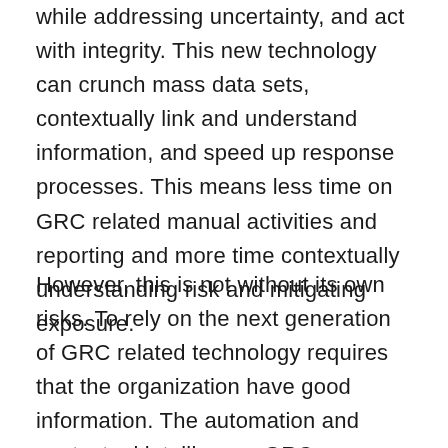while addressing uncertainty, and act with integrity. This new technology can crunch mass data sets, contextually link and understand information, and speed up response processes. This means less time on GRC related manual activities and reporting and more time contextually understanding risk and mitigating exposure.
However, this is not without its own risks. To rely on the next generation of GRC related technology requires that the organization have good information. The automation and contextual intelligence GRC technology